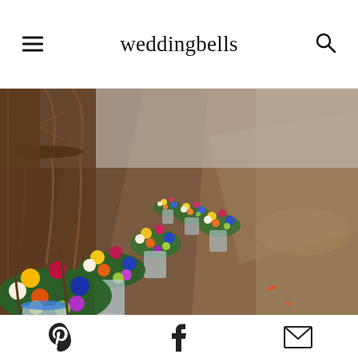weddingbells
[Figure (photo): Wedding ceremony aisle with colorful wildflower arrangements in glass jars/vases lined along wooden cross-back chairs on a concrete floor. Flowers include blue, yellow, orange, purple, red, and white blooms. Perspective view down the aisle.]
Pinterest share, Facebook share, Email share icons